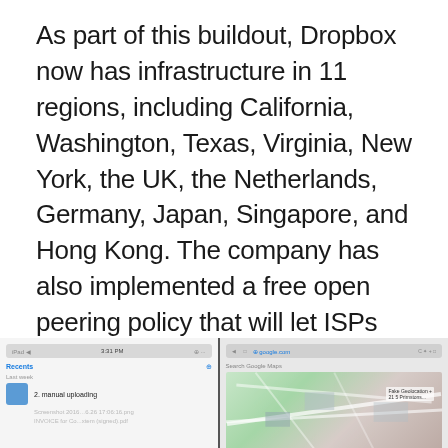As part of this buildout, Dropbox now has infrastructure in 11 regions, including California, Washington, Texas, Virginia, New York, the UK, the Netherlands, Germany, Japan, Singapore, and Hong Kong. The company has also implemented a free open peering policy that will let ISPs connect to its network.
"Because we control our own infrastructure, we can control our own destiny in many ways, and that delivers differentiated value to our end uses," Mehta said.
[Figure (screenshot): Screenshot showing a mobile app file list on the left (with items like 'manual uploading', 'Screenshot 2016-26 17:06:16.png', 'INVOICE for Co...') and a Google Maps view on the right showing a street map.]